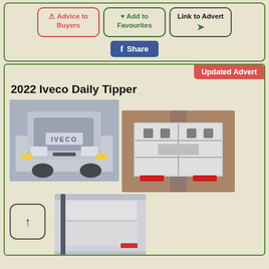[Figure (other): Advice to Buyers button (red border, red text with warning icon)]
[Figure (other): Add to Favourites button (green border, green text with heart icon)]
[Figure (other): Link to Advert button (black border, green arrow icon)]
[Figure (other): Facebook Share button (blue background, white text and logo)]
Updated Advert
2022 Iveco Daily Tipper
[Figure (photo): Front view of a white Iveco Daily Tipper van parked outside a brick building]
[Figure (photo): Rear view of a white Iveco Daily Tipper with tipper body closed, parked in a car park]
[Figure (photo): Side view of a white tipper body on an Iveco Daily, partially visible]
[Figure (other): Scroll up navigation button with upward arrow]